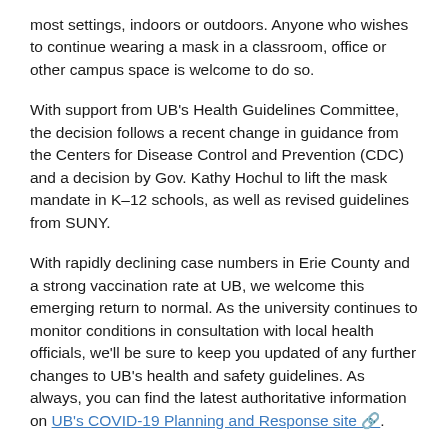most settings, indoors or outdoors. Anyone who wishes to continue wearing a mask in a classroom, office or other campus space is welcome to do so.
With support from UB's Health Guidelines Committee, the decision follows a recent change in guidance from the Centers for Disease Control and Prevention (CDC) and a decision by Gov. Kathy Hochul to lift the mask mandate in K–12 schools, as well as revised guidelines from SUNY.
With rapidly declining case numbers in Erie County and a strong vaccination rate at UB, we welcome this emerging return to normal. As the university continues to monitor conditions in consultation with local health officials, we'll be sure to keep you updated of any further changes to UB's health and safety guidelines. As always, you can find the latest authoritative information on UB's COVID-19 Planning and Response site.
In keeping with state and federal regulations, masks will continue to be mandatory for everyone aboard UB buses and shuttles and in clinical health care settings on campus. UB faculty, staff and students who work or learn at hospitals, nursing